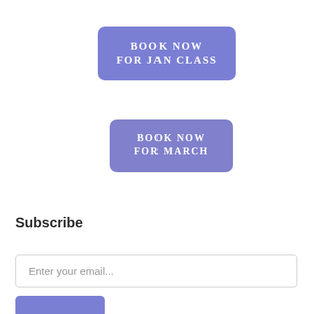[Figure (other): Blue-purple button labeled BOOK NOW FOR JAN CLASS]
[Figure (other): Blue-purple button labeled BOOK NOW FOR MARCH]
Subscribe
Enter your email...
[Figure (other): Blue subscribe button (partial, clipped at bottom)]